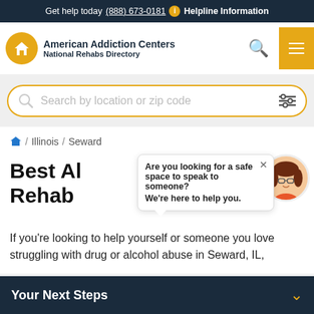Get help today (888) 673-0181 ℹ Helpline Information
[Figure (logo): American Addiction Centers National Rehabs Directory logo with house icon in gold circle]
Search by location or zip code
/ Illinois / Seward
Best Alcohol and Drug Rehab
[Figure (illustration): Chat popup with close button saying 'Are you looking for a safe space to speak to someone? We're here to help you.' and cartoon female avatar]
If you're looking to help yourself or someone you love struggling with drug or alcohol abuse in Seward, IL,
Your Next Steps